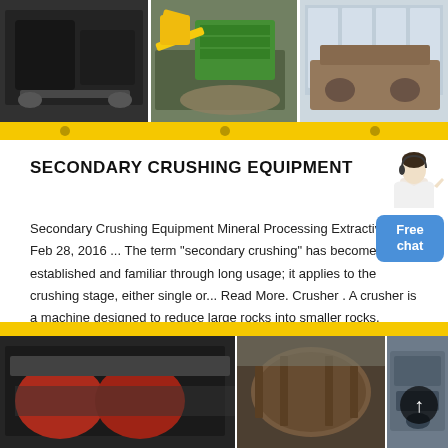[Figure (photo): Top banner with three panels showing industrial crushing/mining equipment: (1) black crusher machine in warehouse, (2) yellow excavator with green screening plant outdoors, (3) large industrial machine in warehouse]
SECONDARY CRUSHING EQUIPMENT
[Figure (photo): Chat widget showing a female customer service representative and a blue 'Free chat' button]
Secondary Crushing Equipment Mineral Processing Extractive ... Feb 28, 2016 ... The term "secondary crushing" has become well established and familiar through long usage; it applies to the crushing stage, either single or... Read More. Crusher . A crusher is a machine designed to reduce large rocks into smaller rocks, gravel, or rock dust. ..... Gyratory crushers can be used .
[Figure (photo): Bottom banner with three panels showing industrial crushing equipment: (1) red roller crusher machine, (2) large cylindrical drum/mill in industrial setting, (3) gray impact crusher machine]